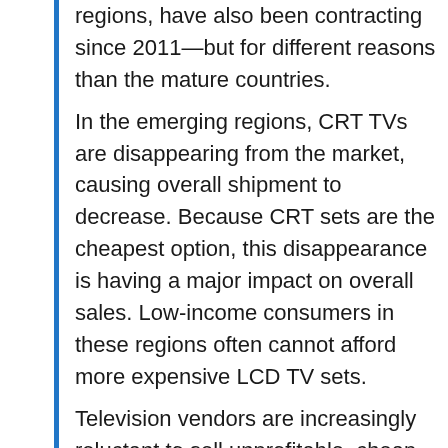regions, have also been contracting since 2011—but for different reasons than the mature countries.
In the emerging regions, CRT TVs are disappearing from the market, causing overall shipment to decrease. Because CRT sets are the cheapest option, this disappearance is having a major impact on overall sales. Low-income consumers in these regions often cannot afford more expensive LCD TV sets.
Television vendors are increasingly reluctant to sell unprofitable, cheap sets, such as CRTs, or LCDs that use the older cold-cathode fluorescent tube (CCFL) backlighting